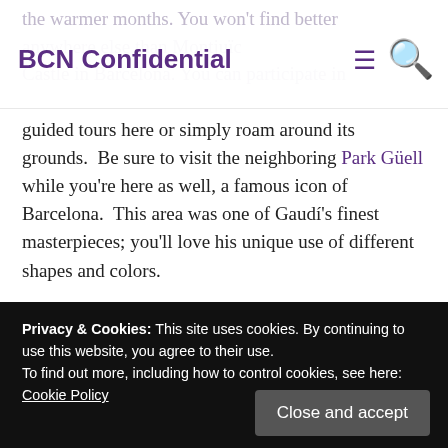BCN Confidential
the warmer months. You won't find better ... anywhere else than Montjuïc Castle in Barcelona. You can participate in guided tours here or simply roam around its grounds. Be sure to visit the neighboring Park Güell while you're here as well, a famous icon of Barcelona. This area was one of Gaudí's finest masterpieces; you'll love his unique use of different shapes and colors.
Come Stay with Us at bizFlats Vacation Rentals!
Privacy & Cookies: This site uses cookies. By continuing to use this website, you agree to their use.
To find out more, including how to control cookies, see here: Cookie Policy
Close and accept
picturesque parts of town to help you enjoy